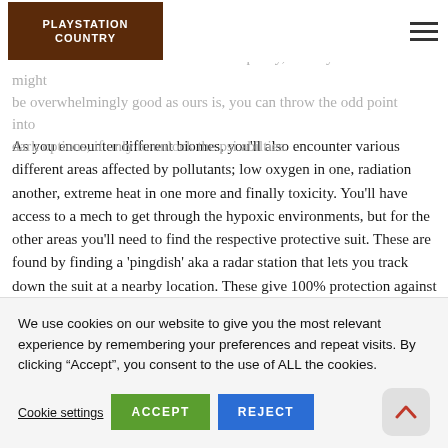PLAYSTATION COUNTRY
Then there's psi-points that give additional mutations, but they're also choices. Helpfully, while your level might not be overwhelmingly good as ours is, you can throw the odd point into dark options, if only to unlock the psi abilties.
As you encounter different biomes, you'll also encounter various different areas affected by pollutants; low oxygen in one, radiation another, extreme heat in one more and finally toxicity. You'll have access to a mech to get through the hypoxic environments, but for the other areas you'll need to find the respective protective suit. These are found by finding a ‘pingdish’ aka a radar station that lets you track down the suit at a nearby location. These give 100% protection against the environment they’re geared against, so you don’t have to worry about exposure limits. Handily, you can set gear presets to switch from
We use cookies on our website to give you the most relevant experience by remembering your preferences and repeat visits. By clicking “Accept”, you consent to the use of ALL the cookies.
Cookie settings
ACCEPT
REJECT